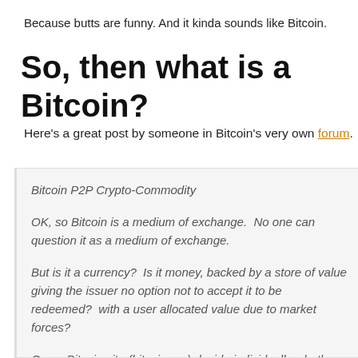Because butts are funny. And it kinda sounds like Bitcoin.
So, then what is a Bitcoin?
Here's a great post by someone in Bitcoin's very own forum.
Bitcoin P2P Crypto-Commodity

OK, so Bitcoin is a medium of exchange. No one can question it as a medium of exchange.

But is it a currency? Is it money, backed by a store of value giving the issuer no option not to accept it to be redeemed? with a user allocated value due to market forces?

Can a Bitcoin site (bitcoin.org) decide individually whether because it has a decentralized nature?

Can a Bitcoin site (mtgox.com) decide individually whether commodity or not – because it has a decentralized nature?